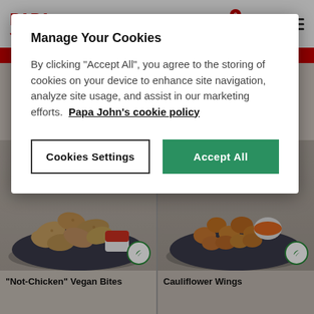[Figure (screenshot): Papa John's website screenshot showing cookie consent modal overlay on top of food ordering page. Top nav has Papa John's logo, home icon, basket with 0 badge, £0.00 price, and hamburger menu. Below the modal are product panels showing 'Not-Chicken' Vegan Bites and Cauliflower Wings with vegan badges.]
Manage Your Cookies
By clicking "Accept All", you agree to the storing of cookies on your device to enhance site navigation, analyze site usage, and assist in our marketing efforts.  Papa John's cookie policy
Cookies Settings
Accept All
"Not-Chicken" Vegan Bites
Cauliflower Wings